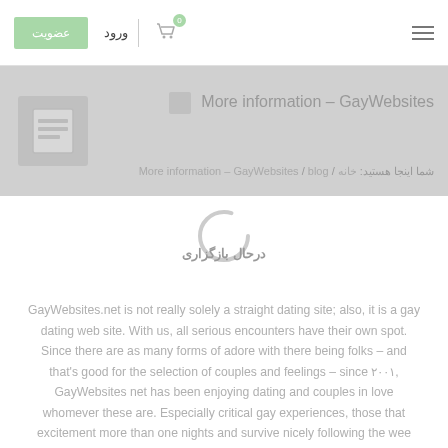عضویت | ورود | [cart icon] | [hamburger menu]
More information – GayWebsites
شما اینجا هستید: خانه / More information – GayWebsites / blog
درحال بازگزاری
GayWebsites.net is not really solely a straight dating site; also, it is a gay dating web site. With us, all serious encounters have their own spot. Since there are as many forms of adore with there being folks – and that's good for the selection of couples and feelings – since ۲۰۰۱, GayWebsites net has been enjoying dating and couples in love whomever these are. Especially critical gay experiences, those that excitement more than one nights and survive nicely following the wee many hours in the morning hours.